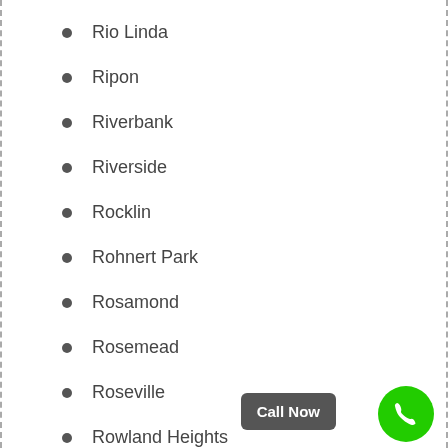Rio Linda
Ripon
Riverbank
Riverside
Rocklin
Rohnert Park
Rosamond
Rosemead
Roseville
Rowland Heights